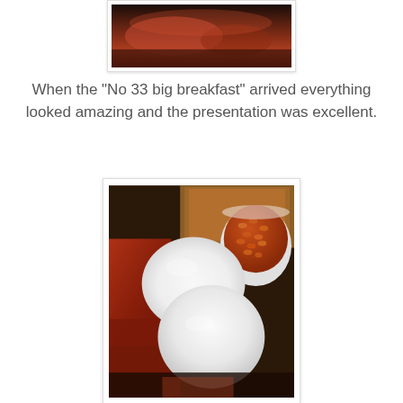[Figure (photo): Close-up photo of cooked breakfast food — bacon and meat visible on a white plate, partially cropped at top of page]
When the "No 33 big breakfast" arrived everything looked amazing and the presentation was excellent.
[Figure (photo): Close-up photo of a full English breakfast showing two poached eggs on top of bacon, with baked beans in a small white cup and toast in the background]